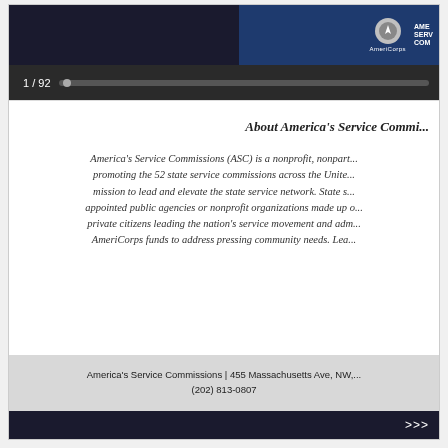[Figure (screenshot): Presentation slide viewer showing page 1 of 92 with AmeriCorps and America's Service Commissions logos in dark blue header]
About America's Service Commi...
America's Service Commissions (ASC) is a nonprofit, nonpart... promoting the 52 state service commissions across the Unite... mission to lead and elevate the state service network. State s... appointed public agencies or nonprofit organizations made up o... private citizens leading the nation's service movement and adm... AmeriCorps funds to address pressing community needs. Lea...
America's Service Commissions | 455 Massachusetts Ave, NW,... (202) 813-0807